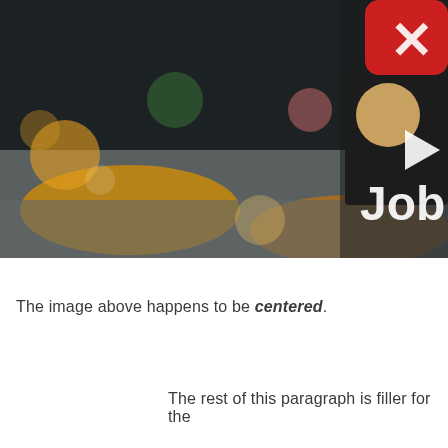[Figure (photo): Blurred night street scene with yellow taxis and bokeh lights; partially cropped app icons and 'Job' text visible in upper right corner]
The image above happens to be centered.
The rest of this paragraph is filler for the